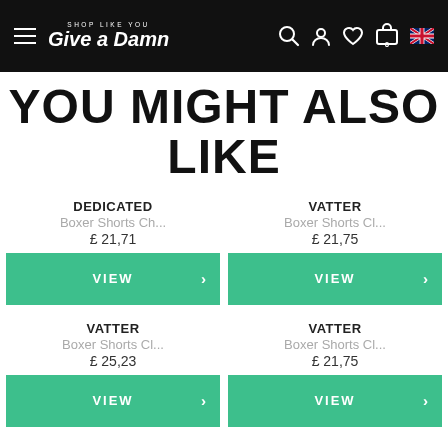SHOP LIKE YOU GIVE A DAMN
YOU MIGHT ALSO LIKE
DEDICATED
Boxer Shorts Ch...
£ 21,71
VATTER
Boxer Shorts Cl...
£ 21,75
VATTER
Boxer Shorts Cl...
£ 25,23
VATTER
Boxer Shorts Cl...
£ 21,75